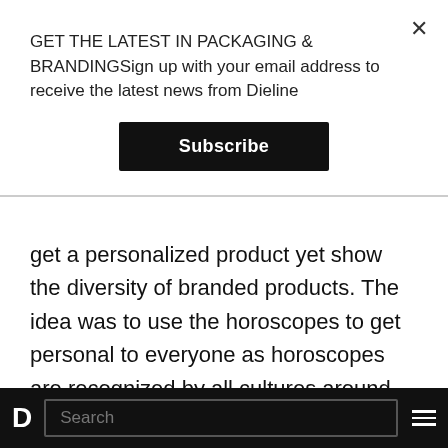GET THE LATEST IN PACKAGING & BRANDINGSign up with your email address to receive the latest news from Dieline
Subscribe
get a personalized product yet show the diversity of branded products. The idea was to use the horoscopes to get personal to everyone as horoscopes are recognized by all cultures around the world, and yet limit the packs to twelve different ones. The art direction helps the products stand out as it uses simple, vivid, neon, modern, artistic, unique and cool artwork. The...
D  Search  ≡